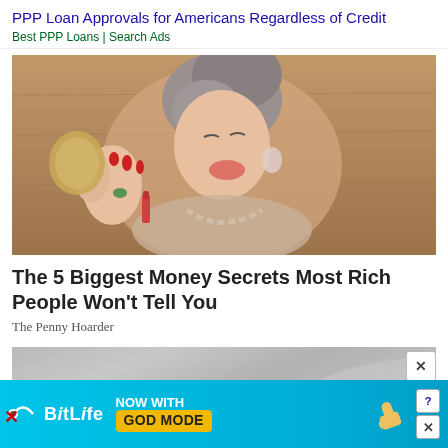PPP Loan Approvals for Americans Regardless of Credit
Best PPP Loans | Search Ads
[Figure (photo): Older woman laughing, looking in a mirror, wearing pearls and fur, holding lipstick]
The 5 Biggest Money Secrets Most Rich People Won't Tell You
The Penny Hoarder
[Figure (photo): Partially visible image, appears to show a person lying down in a light environment]
[Figure (infographic): BitLife banner advertisement: NOW WITH GOD MODE, with thumbs up graphic]